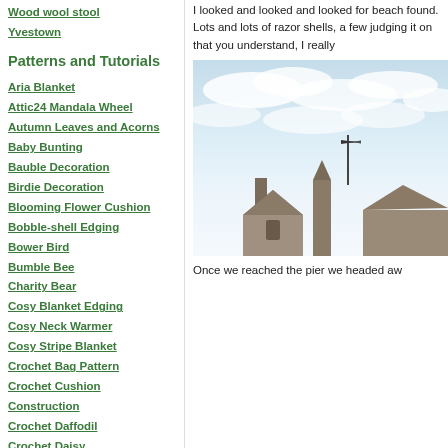Wood wool stool
Yvestown
Patterns and Tutorials
Aria Blanket
Attic24 Mandala Wheel
Autumn Leaves and Acorns
Baby Bunting
Bauble Decoration
Birdie Decoration
Blooming Flower Cushion
Bobble-shell Edging
Bower Bird
Bumble Bee
Charity Bear
Cosy Blanket Edging
Cosy Neck Warmer
Cosy Stripe Blanket
Crochet Bag Pattern
Crochet Cushion Construction
Crochet Daffodil
Crochet Daisy
Crochet Fern Leaf
Crochet Flowers and Leaves
Crochet Hellebore Flower
I looked and looked and looked for beach found. Lots and lots of razor shells, a few judging it on that you understand, I really
[Figure (photo): Photo showing a Gothic or Victorian building roofline with spires and a weathervane against a partly cloudy blue sky.]
Once we reached the pier we headed aw